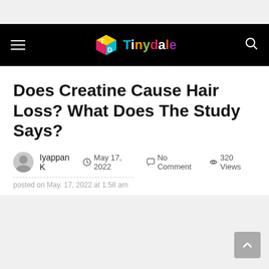Tinydale
Does Creatine Cause Hair Loss? What Does The Study Says?
Iyappan K  May 17, 2022  No Comment  320 Views
posted on May. 17, 2022 at 1:58 am